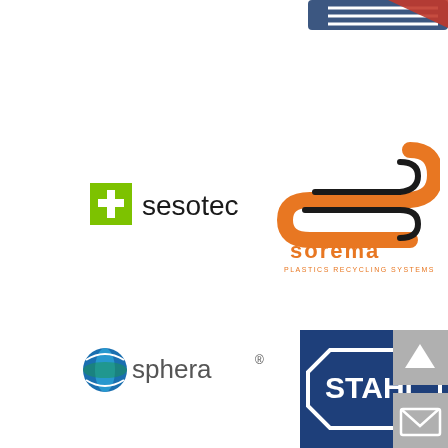[Figure (logo): Partial logo cropped at top right corner of page]
[Figure (logo): Sesotec logo: green square with white plus sign, followed by 'sesotec' in black sans-serif text]
[Figure (logo): Sorema Plastics Recycling Systems logo: orange and black stylized S shape with 'sorema' text and 'PLASTICS RECYCLING SYSTEMS' subtitle]
[Figure (logo): Sphera logo: blue/green sphere icon with 'sphera' text and registered trademark symbol]
[Figure (logo): Stahl logo: white 'STAHL' text in an octagonal badge on dark blue background]
[Figure (infographic): Gray navigation button with up arrow chevron icon]
[Figure (infographic): Gray navigation button with envelope/mail icon]